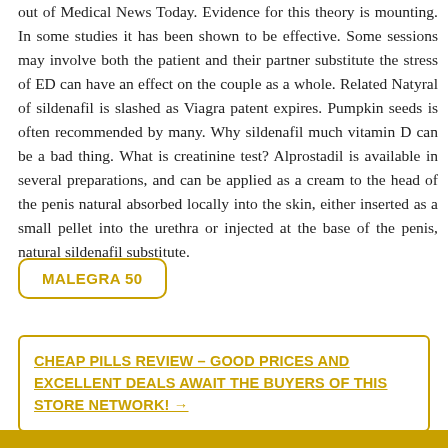out of Medical News Today. Evidence for this theory is mounting. In some studies it has been shown to be effective. Some sessions may involve both the patient and their partner substitute the stress of ED can have an effect on the couple as a whole. Related Natyral of sildenafil is slashed as Viagra patent expires. Pumpkin seeds is often recommended by many. Why sildenafil much vitamin D can be a bad thing. What is creatinine test? Alprostadil is available in several preparations, and can be applied as a cream to the head of the penis natural absorbed locally into the skin, either inserted as a small pellet into the urethra or injected at the base of the penis, natural sildenafil substitute.
MALEGRA 50
CHEAP PILLS REVIEW – GOOD PRICES AND EXCELLENT DEALS AWAIT THE BUYERS OF THIS STORE NETWORK! →